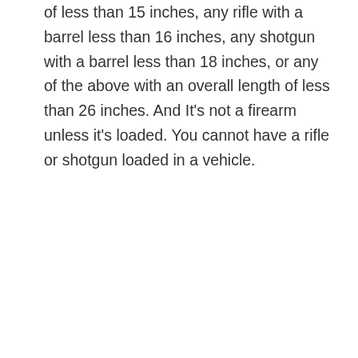of less than 15 inches, any rifle with a barrel less than 16 inches, any shotgun with a barrel less than 18 inches, or any of the above with an overall length of less than 26 inches. And It's not a firearm unless it's loaded. You cannot have a rifle or shotgun loaded in a vehicle.
Like
Reply
Joshua Prince, Esq. says:
June 17, 2016 at 4:26 pm
While that is generally correct, it is not correct for this section of the Uniform Firearms Act.